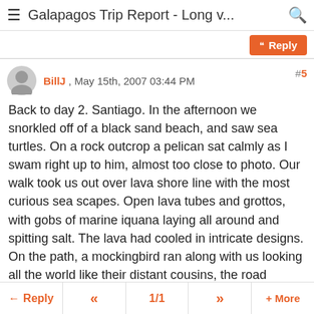Galapagos Trip Report - Long v...
BillJ , May 15th, 2007 03:44 PM #5
Back to day 2. Santiago. In the afternoon we snorkled off of a black sand beach, and saw sea turtles. On a rock outcrop a pelican sat calmly as I swam right up to him, almost too close to photo. Our walk took us out over lava shore line with the most curious sea scapes. Open lava tubes and grottos, with gobs of marine iquana laying all around and spitting salt. The lava had cooled in intricate designs. On the path, a mockingbird ran along with us looking all the world like their distant cousins, the road runners of the American Southwest, but a lot scruffier. The birders were gleeful. I was worried I'd step on him or the ever present lava lizards.
The rhythm of ship life was now firmly established. With
Reply  «  1/1  »  + More